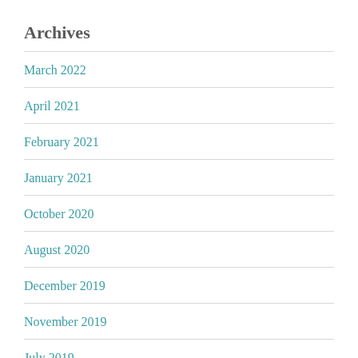Archives
March 2022
April 2021
February 2021
January 2021
October 2020
August 2020
December 2019
November 2019
July 2019